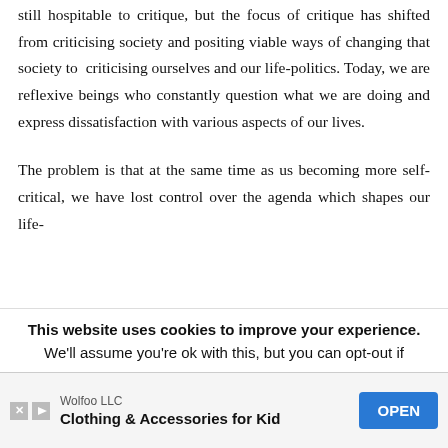still hospitable to critique, but the focus of critique has shifted from criticising society and positing viable ways of changing that society to criticising ourselves and our life-politics. Today, we are reflexive beings who constantly question what we are doing and express dissatisfaction with various aspects of our lives.
The problem is that at the same time as us becoming more self-critical, we have lost control over the agenda which shapes our life-
This website uses cookies to improve your experience. We'll assume you're ok with this, but you can opt-out if
[Figure (other): Advertisement banner: Wolfoo LLC - Clothing & Accessories for Kid, with an OPEN button in blue]